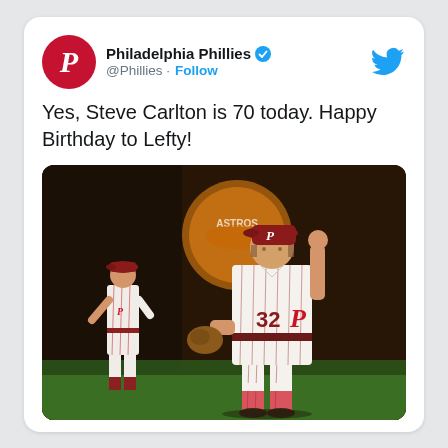[Figure (screenshot): Twitter/X card from Philadelphia Phillies (@Phillies) with verified badge and Follow button. Shows tweet text and a photo of Steve Carlton (#32) in Phillies pinstripe uniform on a baseball field, fist raised, with another Phillies player running behind him.]
Philadelphia Phillies @Phillies · Follow
Yes, Steve Carlton is 70 today. Happy Birthday to Lefty!